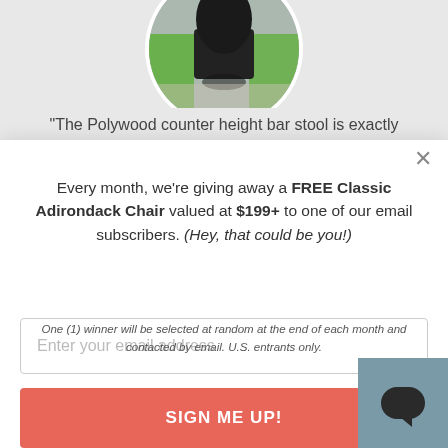[Figure (photo): Circular cropped photo showing a dark chair against green furniture background, partially visible at top of page]
"The Polywood counter height bar stool is exactly
Every month, we're giving away a FREE Classic Adirondack Chair valued at $199+ to one of our email subscribers. (Hey, that could be you!)
Enter your email address
SIGN ME UP!
One (1) winner will be selected at random at the end of each month and contacted by email. U.S. entrants only.